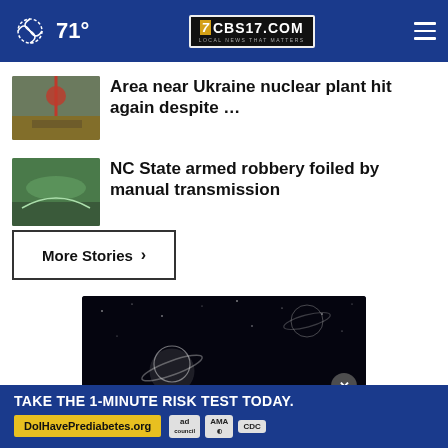71° CBS17.COM LOCAL NEWS THAT MATTERS
Area near Ukraine nuclear plant hit again despite …
NC State armed robbery foiled by manual transmission
More Stories ›
[Figure (illustration): Dark space illustration with Saturn-like planets and stars on a dark background]
[Figure (infographic): Advertisement banner: TAKE THE 1-MINUTE RISK TEST TODAY. DolHavePrediabetes.org with ad council, AMA, and CDC logos]